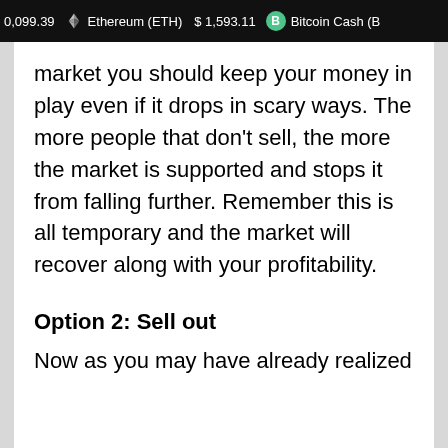0,099.39  Ethereum (ETH)  $ 1,593.11  B  Bitcoin Cash (B
market you should keep your money in play even if it drops in scary ways. The more people that don't sell, the more the market is supported and stops it from falling further. Remember this is all temporary and the market will recover along with your profitability.
Option 2: Sell out
Now as you may have already realized